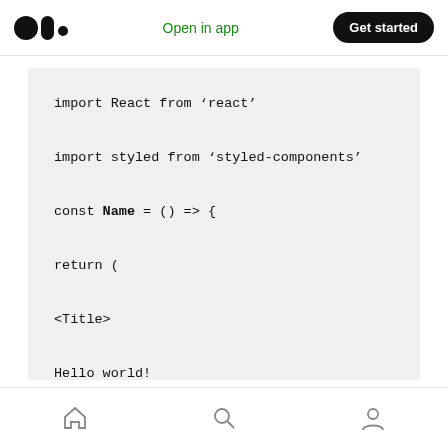Medium logo | Open in app | Get started
[Figure (screenshot): Code block showing React styled-components example with monospace font on light gray background. Code: import React from 'react'; import styled from 'styled-components'; const Name = () => {; return (; <Title>; Hello world!; </Title>; )]
Home | Search | Profile icons